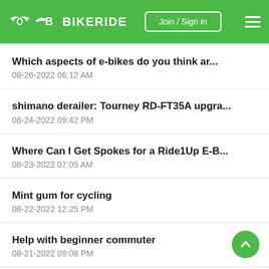BIKERIDE | Join / Sign in
Which aspects of e-bikes do you think ar...
08-26-2022 06:12 AM
shimano derailer: Tourney RD-FT35A upgra...
08-24-2022 09:42 PM
Where Can I Get Spokes for a Ride1Up E-B...
08-23-2022 07:05 AM
Mint gum for cycling
08-22-2022 12:25 PM
Help with beginner commuter
08-21-2022 09:08 PM